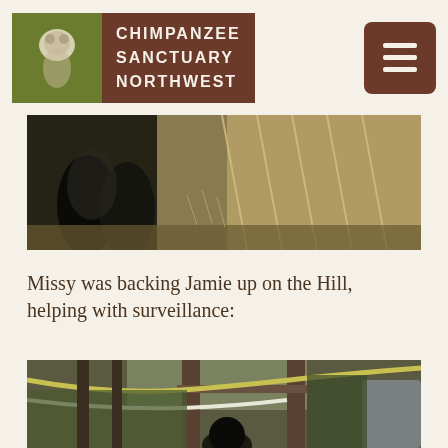CHIMPANZEE SANCTUARY NORTHWEST
[Figure (photo): Close-up photo of a chimpanzee's lower body/legs standing on dry grass near a fence structure, taken in natural daylight]
Missy was backing Jamie up on the Hill, helping with surveillance:
[Figure (photo): Photo of chimpanzee enclosure outdoor area with wooden posts, ropes/cables, and a chimpanzee visible at bottom, surrounded by trees]